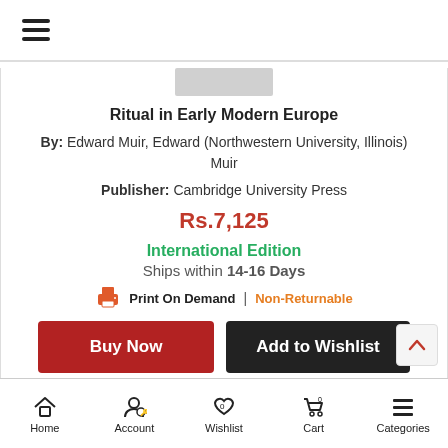≡ (hamburger menu)
Ritual in Early Modern Europe
By: Edward Muir, Edward (Northwestern University, Illinois) Muir
Publisher: Cambridge University Press
Rs.7,125
International Edition
Ships within 14-16 Days
Print On Demand | Non-Returnable
Buy Now   Add to Wishlist
Home   Account   Wishlist   Cart   Categories